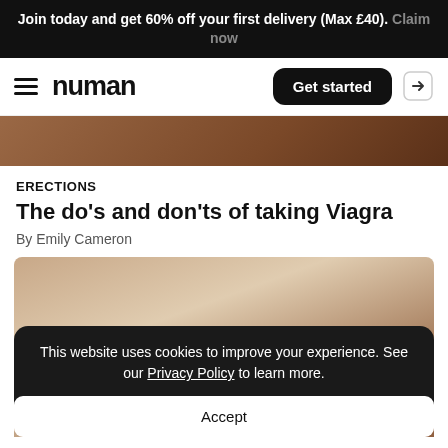Join today and get 60% off your first delivery (Max £40). Claim now
[Figure (screenshot): Numan website navigation bar with hamburger menu, logo, Get started button, and login icon]
[Figure (photo): Brown gradient image strip, partial article hero image]
ERECTIONS
The do's and don'ts of taking Viagra
By Emily Cameron
[Figure (photo): Partial photo of a person, mostly obscured by cookie consent modal]
This website uses cookies to improve your experience. See our Privacy Policy to learn more.
Accept